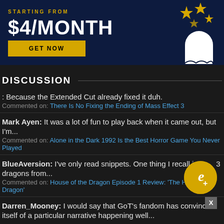[Figure (infographic): Advertisement banner with dark navy background. Text reads 'STARTING FROM $4/MONTH' with a 'GET NOW' button in gold. Right side shows stars and a ghost/person illustration in gold and white.]
DISCUSSION
: Because the Extended Cut already fixed it duh.
Commented on: There Is No Fixing the Ending of Mass Effect 3
Mark Ayen: It was a lot of fun to play back when it came out, but I'm...
Commented on: Alone in the Dark 1992 Is the Best Horror Game You Never Played
BlueAversion: I've only read snippets. One thing I recall is o... 3 dragons from...
Commented on: House of the Dragon Episode 1 Review: 'The Heirs of the Dragon'
Darren_Mooney: I would say that GoT's fandom has convinced itself of a particular narrative happening well...